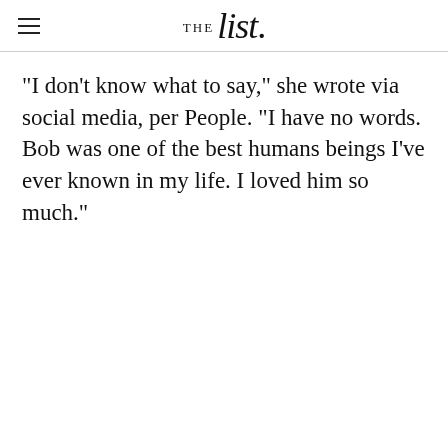THE list.
"I don't know what to say," she wrote via social media, per People. "I have no words. Bob was one of the best humans beings I've ever known in my life. I loved him so much."